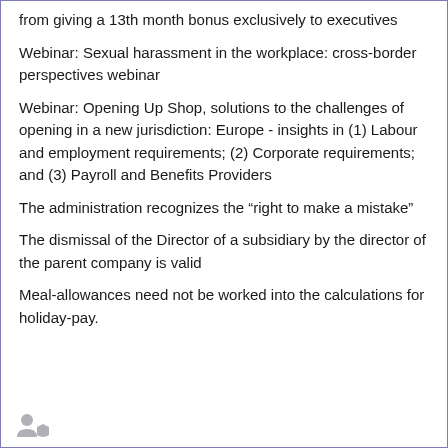from giving a 13th month bonus exclusively to executives
Webinar: Sexual harassment in the workplace: cross-border perspectives webinar
Webinar: Opening Up Shop, solutions to the challenges of opening in a new jurisdiction: Europe - insights in (1) Labour and employment requirements; (2) Corporate requirements; and (3) Payroll and Benefits Providers
The administration recognizes the “right to make a mistake”
The dismissal of the Director of a subsidiary by the director of the parent company is valid
Meal-allowances need not be worked into the calculations for holiday-pay.